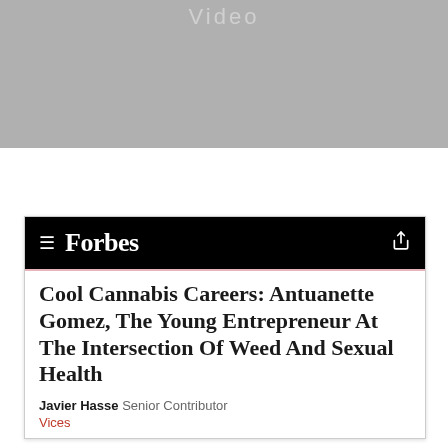[Figure (screenshot): Gray video placeholder banner with faint 'Video' text]
[Figure (screenshot): Forbes mobile app article card with black navbar showing Forbes logo and hamburger menu, article titled 'Cool Cannabis Careers: Antuanette Gomez, The Young Entrepreneur At The Intersection Of Weed And Sexual Health', byline by Javier Hasse, Senior Contributor, category Vices]
Cool Cannabis Careers: Antuanette Gomez, The Young Entrepreneur At The Intersection Of Weed And Sexual Health
Javier Hasse Senior Contributor
Vices